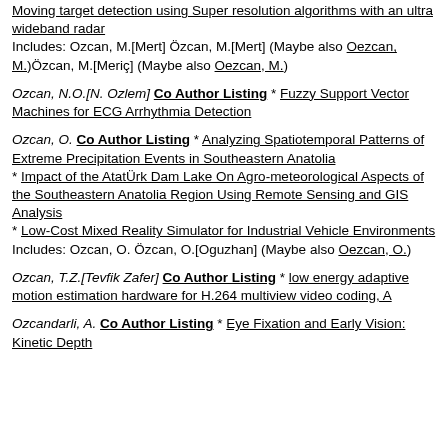Moving target detection using Super resolution algorithms with an ultra wideband radar
Includes: Ozcan, M.[Mert] Özcan, M.[Mert] (Maybe also Oezcan, M.)Özcan, M.[Meriç] (Maybe also Oezcan, M.)
Ozcan, N.O.[N. Ozlem] Co Author Listing * Fuzzy Support Vector Machines for ECG Arrhythmia Detection
Ozcan, O. Co Author Listing * Analyzing Spatiotemporal Patterns of Extreme Precipitation Events in Southeastern Anatolia
* Impact of the AtatÜrk Dam Lake On Agro-meteorological Aspects of the Southeastern Anatolia Region Using Remote Sensing and GIS Analysis
* Low-Cost Mixed Reality Simulator for Industrial Vehicle Environments
Includes: Ozcan, O. Özcan, O.[Oguzhan] (Maybe also Oezcan, O.)
Ozcan, T.Z.[Tevfik Zafer] Co Author Listing * low energy adaptive motion estimation hardware for H.264 multiview video coding, A
Ozcandarli, A. Co Author Listing * Eye Fixation and Early Vision: Kinetic Depth